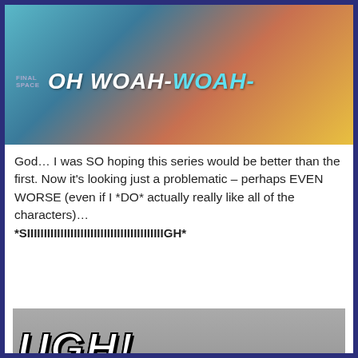[Figure (screenshot): Screenshot from animated show 'Final Space' with characters and subtitle text 'OH WOAH-WOAH-' in white and cyan on teal/orange animated background]
God… I was SO hoping this series would be better than the first. Now it's looking just a problematic – perhaps EVEN WORSE (even if I *DO* actually really like all of the characters)…
*SIIIIIIIIIIIIIIIIIIIIIIIIIIIIIIIIIIIIIIIIIGH*
[Figure (photo): Black and white photo of a woman with eyes closed rubbing her nose/forehead, appearing frustrated. Large bold text 'UGH!' overlaid in white with black outline at top left.]